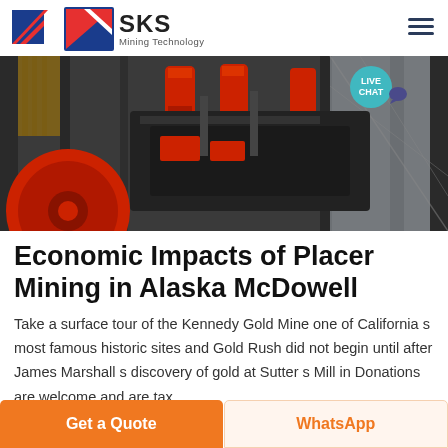SKS Mining Technology
[Figure (photo): Industrial mining equipment with red and black machinery components, pipes, and a large red wheel/drum in the foreground. A LIVE CHAT badge is overlaid in the top-right corner.]
Economic Impacts of Placer Mining in Alaska McDowell
Take a surface tour of the Kennedy Gold Mine one of California s most famous historic sites and Gold Rush did not begin until after James Marshall s discovery of gold at Sutter s Mill in Donations are welcome and are tax
Get a Quote | WhatsApp